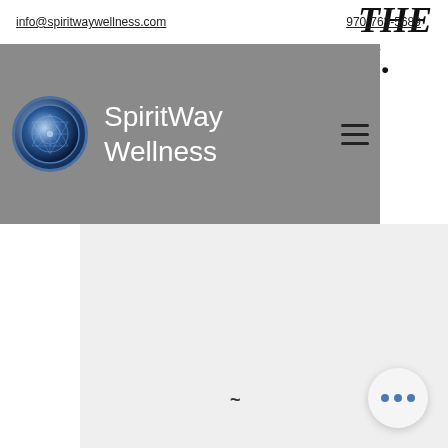info@spiritwaywellness.com   970-763-5689
[Figure (logo): SpiritWay Wellness logo: circular blue geometric sacred geometry symbol with the text 'SpiritWay Wellness' beside it on a gray navigation header background]
SpiritWay Wellness
[Figure (screenshot): Partial background text showing 'THE' and 'E.' in bold italic serif font on white background, visible on the right side of the page]
~
[Figure (other): Floating action button with three blue dots on a white circle, positioned bottom-right]